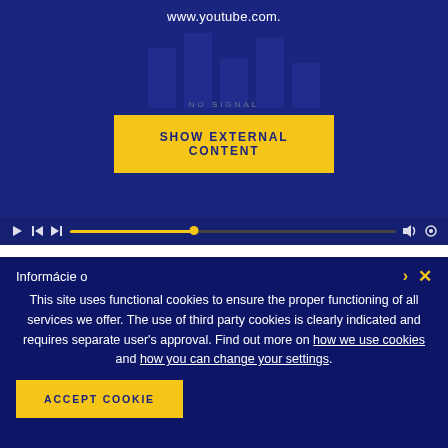[Figure (screenshot): YouTube video player embedded widget showing 'NO SIGNAL' state with www.youtube.com URL text, a yellow 'SHOW EXTERNAL CONTENT' button, and a video playback controls bar at the bottom.]
Informácie o
This site uses functional cookies to ensure the proper functioning of all services we offer. The use of third party cookies is clearly indicated and requires separate user's approval. Find out more on how we use cookies and how you can change your settings.